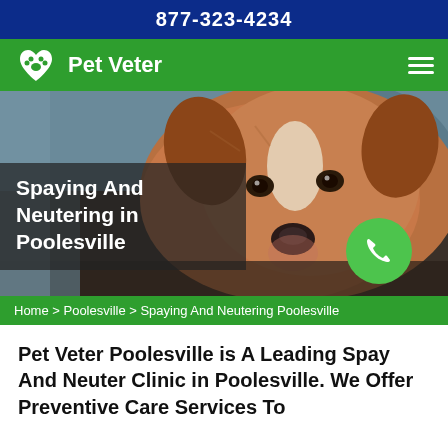877-323-4234
Pet Veter
[Figure (photo): Close-up photo of a brown and white dog lying down looking at the camera, with a blurred background]
Spaying And Neutering in Poolesville
Home > Poolesville > Spaying And Neutering Poolesville
Pet Veter Poolesville is A Leading Spay And Neuter Clinic in Poolesville. We Offer Preventive Care Services To